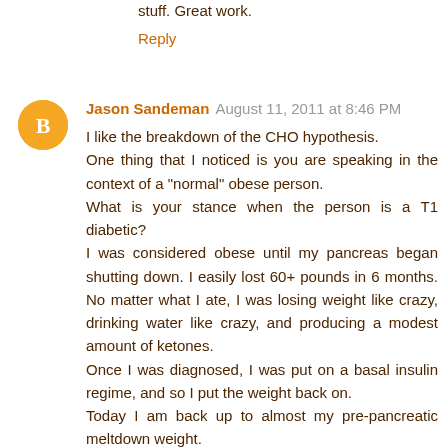stuff. Great work.
Reply
Jason Sandeman  August 11, 2011 at 8:46 PM
I like the breakdown of the CHO hypothesis.
One thing that I noticed is you are speaking in the context of a "normal" obese person.
What is your stance when the person is a T1 diabetic?
I was considered obese until my pancreas began shutting down. I easily lost 60+ pounds in 6 months. No matter what I ate, I was losing weight like crazy, drinking water like crazy, and producing a modest amount of ketones.
Once I was diagnosed, I was put on a basal insulin regime, and so I put the weight back on.
Today I am back up to almost my pre-pancreatic meltdown weight.

It is well known in the Diabetic Online Community that the easiest (albeit dangerous way) to lose weight is to stop taking your insulin. It is called diabulimia.